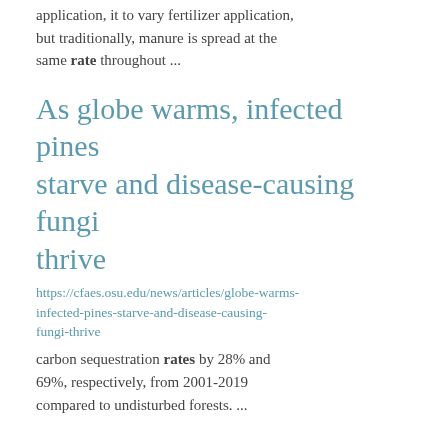application, it to vary fertilizer application, but traditionally, manure is spread at the same rate throughout ...
As globe warms, infected pines starve and disease-causing fungi thrive
https://cfaes.osu.edu/news/articles/globe-warms-infected-pines-starve-and-disease-causing-fungi-thrive
carbon sequestration rates by 28% and 69%, respectively, from 2001-2019 compared to undisturbed forests. ...
Ohio State University Cultivar Trial: Cl...